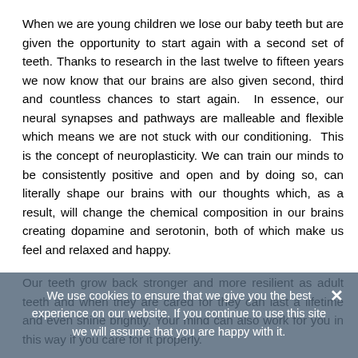When we are young children we lose our baby teeth but are given the opportunity to start again with a second set of teeth. Thanks to research in the last twelve to fifteen years we now know that our brains are also given second, third and countless chances to start again.  In essence, our neural synapses and pathways are malleable and flexible which means we are not stuck with our conditioning.  This is the concept of neuroplasticity. We can train our minds to be consistently positive and open and by doing so, can literally shape our brains with our thoughts which, as a result, will change the chemical composition in our brains creating dopamine and serotonin, both of which make us feel and relaxed and happy.
Our teeth grow back stronger and more resilient as adult teeth and when they are cared for they can last a lifetime and even shine brightly. Your mind can also work for you in this way if you care for it properly.
This week choose to focus on caring for your mind with daily positive affirmations that will literally change your brain.
We use cookies to ensure that we give you the best experience on our website. If you continue to use this site we will assume that you are happy with it.